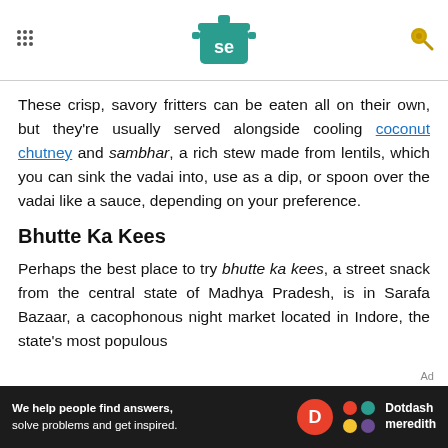Serious Eats header with logo and navigation icons
These crisp, savory fritters can be eaten all on their own, but they're usually served alongside cooling coconut chutney and sambhar, a rich stew made from lentils, which you can sink the vadai into, use as a dip, or spoon over the vadai like a sauce, depending on your preference.
Bhutte Ka Kees
Perhaps the best place to try bhutte ka kees, a street snack from the central state of Madhya Pradesh, is in Sarafa Bazaar, a cacophonous night market located in Indore, the state's most populous
We help people find answers, solve problems and get inspired. Dotdash meredith Ad